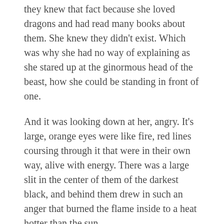they knew that fact because she loved dragons and had read many books about them. She knew they didn't exist. Which was why she had no way of explaining as she stared up at the ginormous head of the beast, how she could be standing in front of one.
And it was looking down at her, angry. It's large, orange eyes were like fire, red lines coursing through it that were in their own way, alive with energy. There was a large slit in the center of them of the darkest black, and behind them drew in such an anger that burned the flame inside to a heat hotter than the sun.
It was focused on her, and she was afraid of what might be coming. She could hear the building up in its chest as it was taking it deep breaths. She saw as